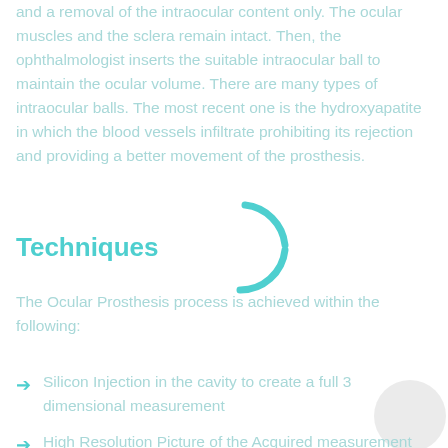and a removal of the intraocular content only. The ocular muscles and the sclera remain intact. Then, the ophthalmologist inserts the suitable intraocular ball to maintain the ocular volume. There are many types of intraocular balls. The most recent one is the hydroxyapatite in which the blood vessels infiltrate prohibiting its rejection and providing a better movement of the prosthesis.
Techniques
The Ocular Prosthesis process is achieved within the following:
Silicon Injection in the cavity to create a full 3 dimensional measurement
High Resolution Picture of the Acquired measurement